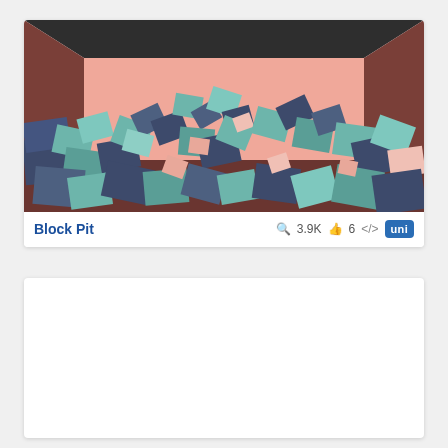[Figure (illustration): 3D rendered image of a pit filled with colorful scattered blocks/cubes in teal, dark blue, pink and green colors, inside a room with brown walls and a pink back wall, dark ceiling.]
Block Pit
3.9K  6  </>  uni
[Figure (other): Empty white card area below the Block Pit card]